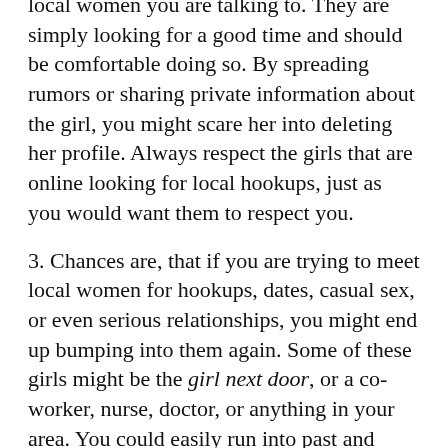local women you are talking to. They are simply looking for a good time and should be comfortable doing so. By spreading rumors or sharing private information about the girl, you might scare her into deleting her profile. Always respect the girls that are online looking for local hookups, just as you would want them to respect you.
3. Chances are, that if you are trying to meet local women for hookups, dates, casual sex, or even serious relationships, you might end up bumping into them again. Some of these girls might be the girl next door, or a co-worker, nurse, doctor, or anything in your area. You could easily run into past and present casual sex partners, hookups, fuck buddies and friends with benefits in public. Remember to be discrete and respectful.
4. Be discrete! This is very important! When you are online using a casual or adult dating service, discretion is very important. Chances are, you don't want everyone to know you are cheating on your wife, and most girls don't